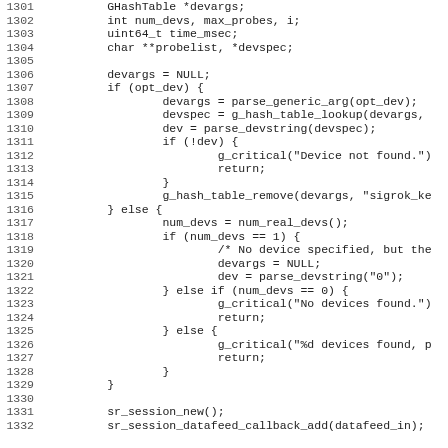[Figure (screenshot): Source code listing in monospace font showing C code lines 1301-1332, with line numbers on the left and code on the right. The code includes variable declarations (GHashTable, int, uint64_t, char), conditional logic for device argument parsing, session setup calls, and device lookup/parsing functions.]